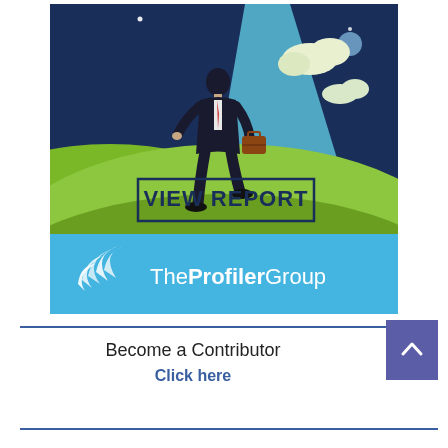[Figure (illustration): Illustration of a businessman in a suit carrying a briefcase, walking up a green hill toward a bright blue light. Dark blue background with clouds and a moon. Text overlay reads 'VIEW REPORT' in a dark blue bordered box. Bottom banner is light blue with The Profiler Group logo (white swoosh graphic) and text 'TheProfilerGroup' in white.]
Become a Contributor
Click here